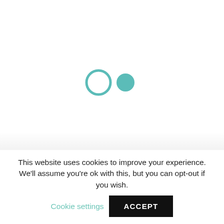[Figure (other): Loading spinner / animation indicator: two teal circles side by side — one is an open ring (outline circle) and one is a solid filled circle, centered on a white-to-light-gray gradient background.]
This website uses cookies to improve your experience. We'll assume you're ok with this, but you can opt-out if you wish.
Cookie settings
ACCEPT